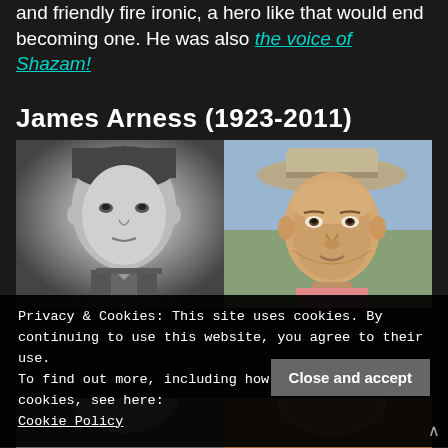and friendly fire ironic, a hero like that would end becoming one. He was also the voice of Shazam!
James Arness (1923-2011)
[Figure (photo): Two photos of James Arness side by side: left is a black and white portrait of a young man in military uniform; right is a color photo of an older man wearing a cowboy hat.]
Privacy & Cookies: This site uses cookies. By continuing to use this website, you agree to their use.
To find out more, including how to control cookies, see here: Cookie Policy
[Figure (photo): Partial bottom photos of James Arness partially hidden behind cookie banner.]